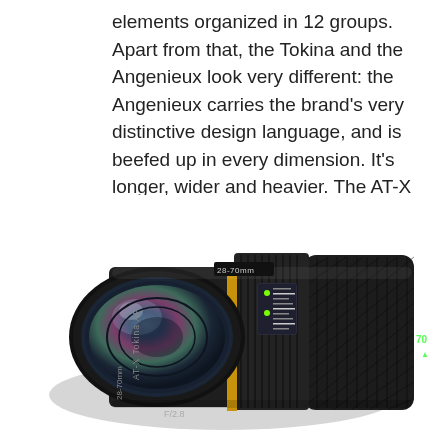elements organized in 12 groups. Apart from that, the Tokina and the Angenieux look very different: the Angenieux carries the brand's very distinctive design language, and is beefed up in every dimension. It's longer, wider and heavier. The AT-X requires 72mm filters. The Angenieux and all the other Tokina 28-70mm F/2.8 lenses need 77mm filters.
[Figure (photo): A Tokina AT-X 28-70mm F/2.8 zoom lens photographed on a white background, showing the lens from a front-left angle. The lens is black with a distinctive gold/yellow ring, featuring knurled focus and zoom rings, depth-of-field scale, and branding text reading 'AT-X Tokina AF'.]